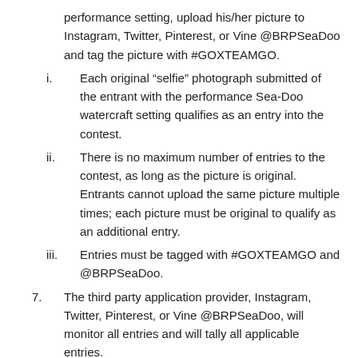performance setting, upload his/her picture to Instagram, Twitter, Pinterest, or Vine @BRPSeaDoo and tag the picture with #GOXTEAMGO.
i. Each original “selfie” photograph submitted of the entrant with the performance Sea-Doo watercraft setting qualifies as an entry into the contest.
ii. There is no maximum number of entries to the contest, as long as the picture is original. Entrants cannot upload the same picture multiple times; each picture must be original to qualify as an additional entry.
iii. Entries must be tagged with #GOXTEAMGO and @BRPSeaDoo.
7. The third party application provider, Instagram, Twitter, Pinterest, or Vine @BRPSeaDoo, will monitor all entries and will tally all applicable entries.